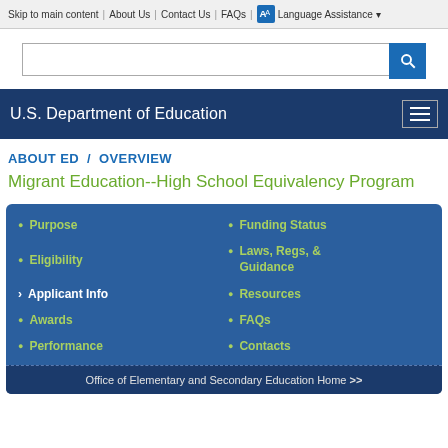Skip to main content | About Us | Contact Us | FAQs | Language Assistance
[Figure (screenshot): Search input box with blue search button]
U.S. Department of Education
ABOUT ED / OVERVIEW
Migrant Education--High School Equivalency Program
Purpose
Funding Status
Eligibility
Laws, Regs, & Guidance
Applicant Info
Resources
Awards
FAQs
Performance
Contacts
Office of Elementary and Secondary Education Home >>